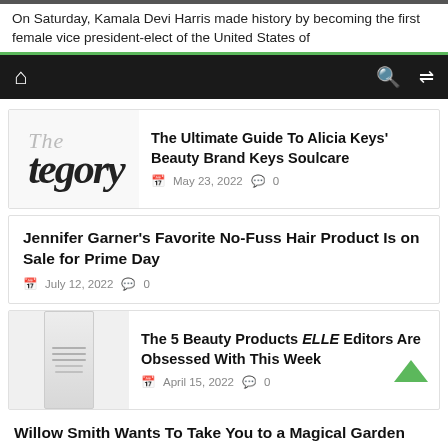On Saturday, Kamala Devi Harris made history by becoming the first female vice president-elect of the United States of
[Figure (screenshot): Dark navigation bar with home icon on left, search and shuffle icons on right]
[Figure (illustration): Stylized italic text showing 'The' and 'tegory' in serif font]
The Ultimate Guide To Alicia Keys' Beauty Brand Keys Soulcare
May 23, 2022  0
Jennifer Garner's Favorite No-Fuss Hair Product Is on Sale for Prime Day
July 12, 2022  0
[Figure (photo): White beauty product bottle/container]
The 5 Beauty Products ELLE Editors Are Obsessed With This Week
April 15, 2022  0
Willow Smith Wants To Take You to a Magical Garden